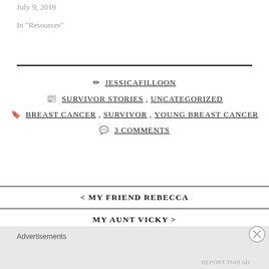July 9, 2019
In "Resources"
✏ JESSICAFILLOON
📰 SURVIVOR STORIES, UNCATEGORIZED
🔖 BREAST CANCER, SURVIVOR, YOUNG BREAST CANCER
💬 3 COMMENTS
< MY FRIEND REBECCA
MY AUNT VICKY >
Advertisements
REPORT THIS AD